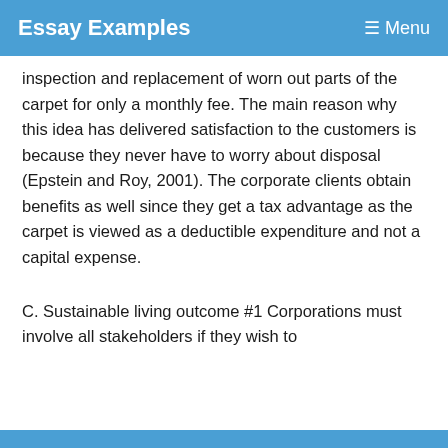Essay Examples   Menu
inspection and replacement of worn out parts of the carpet for only a monthly fee. The main reason why this idea has delivered satisfaction to the customers is because they never have to worry about disposal (Epstein and Roy, 2001). The corporate clients obtain benefits as well since they get a tax advantage as the carpet is viewed as a deductible expenditure and not a capital expense.
C. Sustainable living outcome #1 Corporations must involve all stakeholders if they wish to